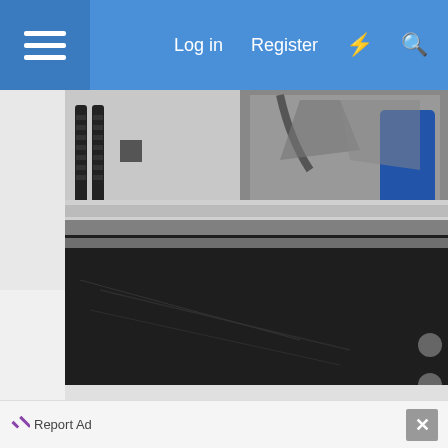[Figure (screenshot): Website navigation bar with hamburger menu on the left and Log in, Register, lightning bolt icon, and search icon on the right, on a blue background]
[Figure (photo): Close-up photo of an industrial machine interior showing a dark flat bed surface, metal components, springs, cables, and a blue cylindrical object visible in the background through an opening]
[Figure (screenshot): Advertisement bar showing 'Report Ad' text with checkmark icon on the left and X close button on the right, followed by a BitLife mobile game advertisement banner with 'FAIL' text, animated character, fire graphics, and 'START A NEW LIFE' text on red background]